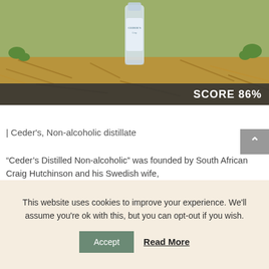[Figure (photo): Photo of a Ceder's non-alcoholic distillate bottle standing in straw/hay outdoors]
SCORE 86%
| Ceder's, Non-alcoholic distillate
“Ceder’s Distilled Non-alcoholic” was founded by South African Craig Hutchinson and his Swedish wife,
This website uses cookies to improve your experience. We'll assume you're ok with this, but you can opt-out if you wish.
Accept   Read More